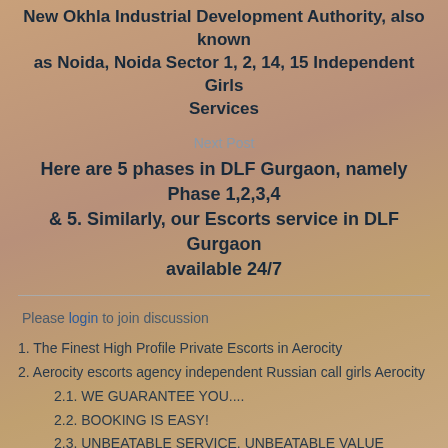New Okhla Industrial Development Authority, also known as Noida, Noida Sector 1, 2, 14, 15 Independent Girls Services
Next Post
Here are 5 phases in DLF Gurgaon, namely Phase 1,2,3,4 & 5. Similarly, our Escorts service in DLF Gurgaon available 24/7
Please login to join discussion
1. The Finest High Profile Private Escorts in Aerocity
2. Aerocity escorts agency independent Russian call girls Aerocity
2.1. WE GUARANTEE YOU....
2.2. BOOKING IS EASY!
2.3. UNBEATABLE SERVICE, UNBEATABLE VALUE